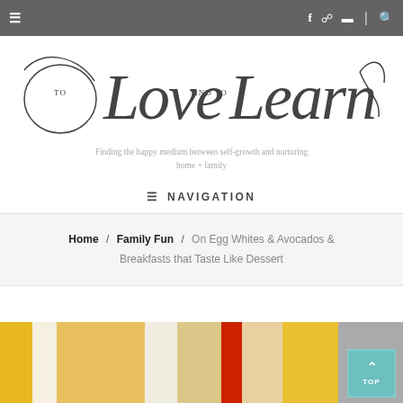≡  f  ⊕  ▤  |  🔍
[Figure (logo): To Love and to Learn — cursive script logo]
Finding the happy medium between self-growth and nurturing home + family
≡ NAVIGATION
Home / Family Fun / On Egg Whites & Avocados & Breakfasts that Taste Like Dessert
[Figure (photo): Close-up photo of yellow pineapple chunks, red cherry tomatoes, and other fruit/food items on a white plate]